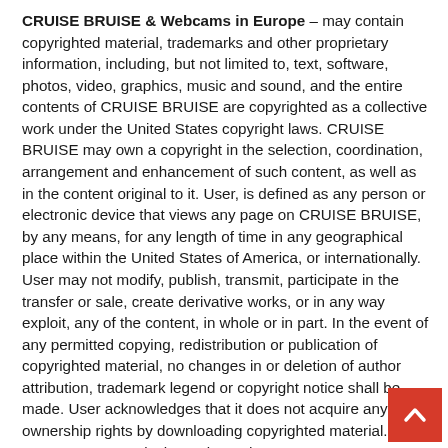CRUISE BRUISE & Webcams in Europe – may contain copyrighted material, trademarks and other proprietary information, including, but not limited to, text, software, photos, video, graphics, music and sound, and the entire contents of CRUISE BRUISE are copyrighted as a collective work under the United States copyright laws. CRUISE BRUISE may own a copyright in the selection, coordination, arrangement and enhancement of such content, as well as in the content original to it. User, is defined as any person or electronic device that views any page on CRUISE BRUISE, by any means, for any length of time in any geographical place within the United States of America, or internationally. User may not modify, publish, transmit, participate in the transfer or sale, create derivative works, or in any way exploit, any of the content, in whole or in part. In the event of any permitted copying, redistribution or publication of copyrighted material, no changes in or deletion of author attribution, trademark legend or copyright notice shall be made. User acknowledges that it does not acquire any ownership rights by downloading copyrighted material. CRUISE BRUISE is the registered